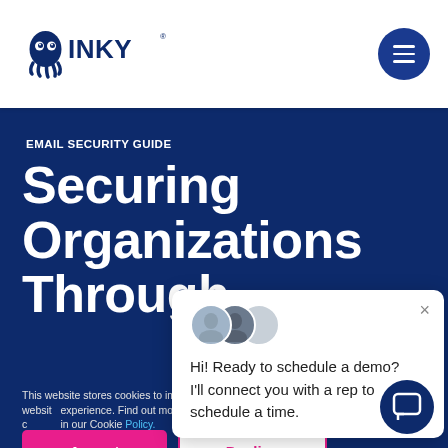[Figure (logo): INKY octopus logo with text INKY in dark blue]
[Figure (other): Dark blue hamburger menu button (three horizontal lines) in top-right corner]
EMAIL SECURITY GUIDE
Securing Organizations Through
This website stores cookies to improve your website experience. Find out more about the cookies in our Cookie Policy.
Policy.
[Figure (other): Chat popup with two avatars, close button, and text: Hi! Ready to schedule a demo? I'll connect you with a rep to schedule a time.]
Accept
Decline
[Figure (other): Dark blue circular chat FAB button with chat icon]